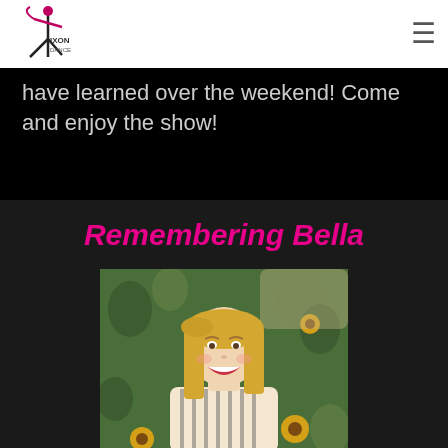Dixon Dance
have learned over the weekend! Come and enjoy the show!
Remembering Bella
[Figure (photo): Young smiling blonde girl outdoors among sunflowers, wearing a striped top, laughing with open mouth]